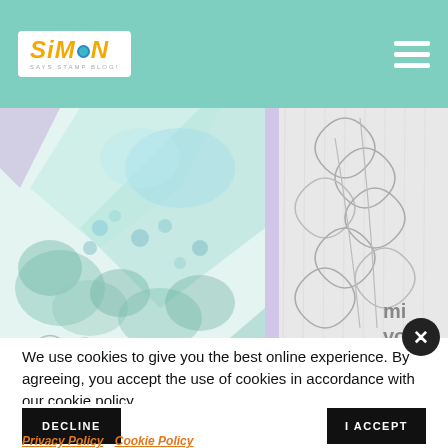[Figure (logo): Simon Says Stamp Blog logo with orange italic text and teal dot on white background]
[Figure (photo): Watercolor floral craft paper designs in teal and blue-green tones on left, embossed leaf/botanical outline design in silver-white tones on right]
We use cookies to give you the best online experience. By agreeing, you accept the use of cookies in accordance with our cookie policy.
DECLINE
I ACCEPT
Privacy Policy  Cookie Policy
[Figure (photo): Partial view of red floral and green lime craft project at bottom of page]